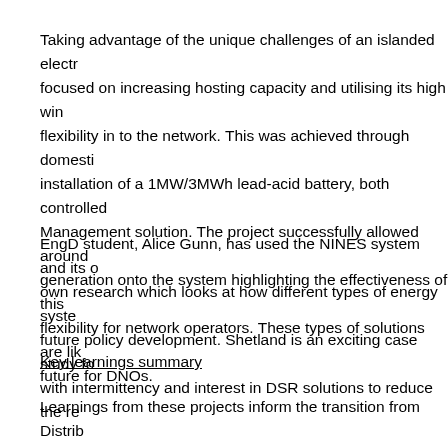Taking advantage of the unique challenges of an islanded electr… focused on increasing hosting capacity and utilising its high win… flexibility in to the network. This was achieved through domesti… installation of a 1MW/3MWh lead-acid battery, both controlled… Management solution. The project successfully allowed around… generation onto the system highlighting the effectiveness of this… flexibility for network operators. These types of solutions are lik… future for DNOs.
EngD student, Alice Gunn, has used the NINES system and its o… own research which looks at how different types of energy syste… future policy development. Shetland is an exciting case study fo… with intermittency and interest in DSR solutions to reduce the re…
Key learnings summary
Learnings from these projects inform the transition from Distrib… to Distribution System Operators (DSOs), allowing more cost e…